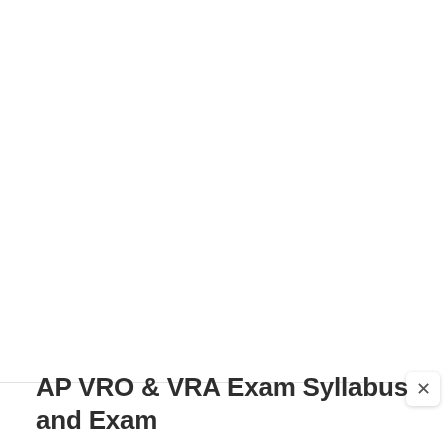[Figure (screenshot): Browser UI element: horizontal divider line near top of page with a close (×) button on the right side]
AP VRO & VRA Exam Syllabus and Exam